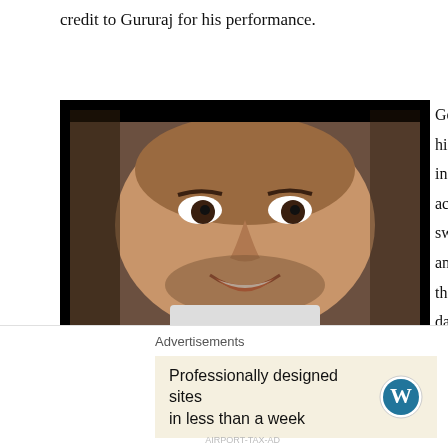credit to Gururaj for his performance.
[Figure (screenshot): Two movie screenshots stacked vertically: top shows a close-up of a smiling man's face; bottom shows a hotel room scene with several people around a bed, with subtitle 'He says that Chiranjeevi's daughter is her classmate']
Gopalan is loved by his family, and included in all their activities. He isn't swept into a corner, and no one distances themselves from this damaged
Advertisements
[Figure (infographic): Advertisement: 'Professionally designed sites in less than a week' with WordPress logo]